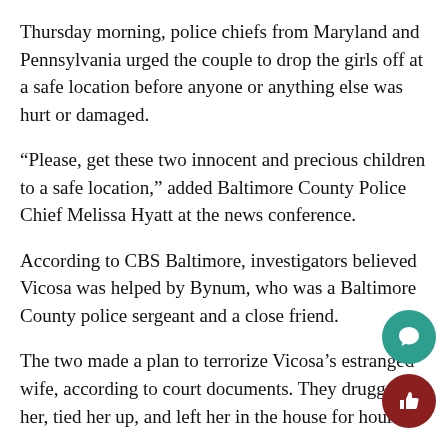Thursday morning, police chiefs from Maryland and Pennsylvania urged the couple to drop the girls off at a safe location before anyone or anything else was hurt or damaged.
“Please, get these two innocent and precious children to a safe location,” added Baltimore County Police Chief Melissa Hyatt at the news conference.
According to CBS Baltimore, investigators believed Vicosa was helped by Bynum, who was a Baltimore County police sergeant and a close friend.
The two made a plan to terrorize Vicosa’s estranged wife, according to court documents. They drugged her, tied her up, and left her in the house for hours.
York County District Attorney, Dave Sunday, announced that his office will be creating a special committee for…